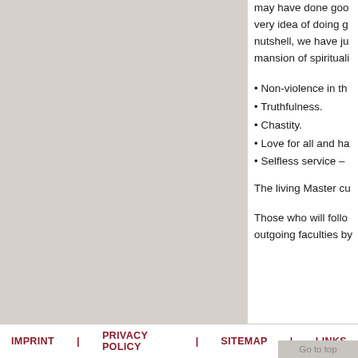may have done good... very idea of doing g... nutshell, we have ju... mansion of spirituali...
• Non-violence in th...
• Truthfulness.
• Chastity.
• Love for all and ha...
• Selfless service –
The living Master cu...
Those who will follo... outgoing faculties by...
IMPRINT | PRIVACY POLICY | SITEMAP | LINKS